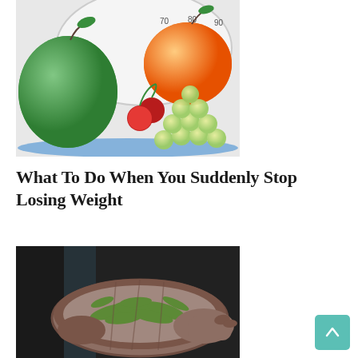[Figure (photo): Photo of assorted fruits including a green apple, cherries, green grapes, and an orange on a white scale background]
What To Do When You Suddenly Stop Losing Weight
[Figure (photo): Photo of a person's hands holding green tea leaves in a round bamboo basket]